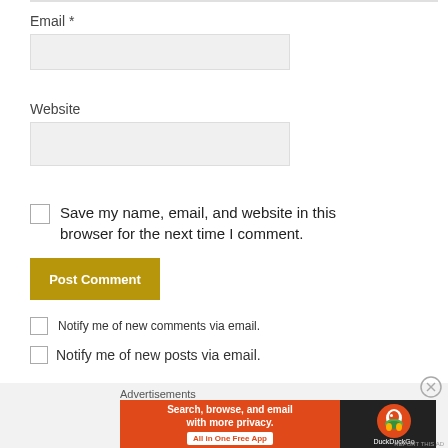Email *
Website
Save my name, email, and website in this browser for the next time I comment.
Post Comment
Notify me of new comments via email.
Notify me of new posts via email.
Advertisements
[Figure (other): DuckDuckGo advertisement banner: orange left side reading 'Search, browse, and email with more privacy. All in One Free App' with dark right side showing DuckDuckGo logo]